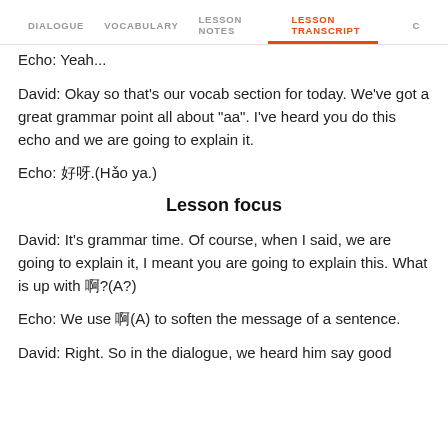DIALOGUE | VOCABULARY | LESSON NOTES | LESSON TRANSCRIPT | C
Echo: Yeah...
David: Okay so that's our vocab section for today. We've got a great grammar point all about "aa". I've heard you do this echo and we are going to explain it.
Echo: 好呀.(Hǎo ya.)
Lesson focus
David: It's grammar time. Of course, when I said, we are going to explain it, I meant you are going to explain this. What is up with 啊?(A?)
Echo: We use 啊(A) to soften the message of a sentence.
David: Right. So in the dialogue, we heard him say good